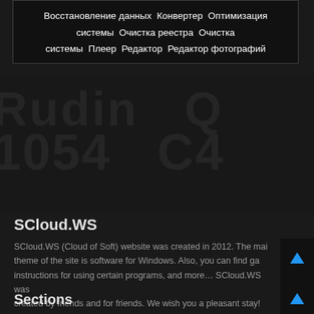Восстановление данных  Конвертер  Оптимизация системы  Очистка реестра  Очистка системы  Плеер  Редактор  Редактор фотографий
[Figure (screenshot): Dark background area with large faded watermark text showing software category icons/logos]
SCloud.WS
SCloud.WS (Cloud of Soft) website was created in 2012. The main theme of the site is software for Windows. Also, you can find games, instructions for using certain programs, and more... SCloud.WS was created by friends and for friends. We wish you a pleasant stay!
Sections